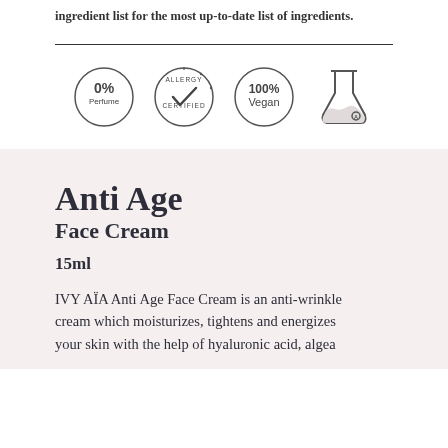ingredient list for the most up-to-date list of ingredients.
[Figure (infographic): Four product certification badges in a row: 0% Perfume circle badge, Allergy Certified circle badge with checkmark, 100% Vegan circle badge, and a laboratory flask icon with 'A' label.]
Anti Age
Face Cream
15ml
IVY AÏA Anti Age Face Cream is an anti-wrinkle cream which moisturizes, tightens and energizes your skin with the help of hyaluronic acid, algea